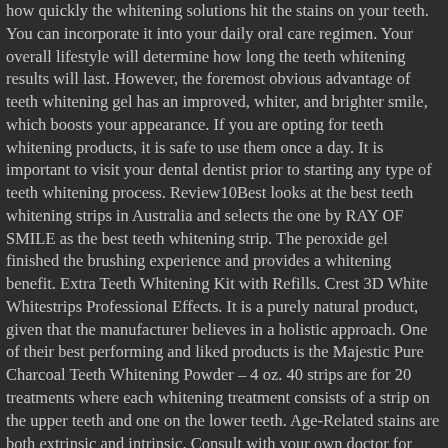how quickly the whitening solutions hit the stains on your teeth. You can incorporate it into your daily oral care regimen. Your overall lifestyle will determine how long the teeth whitening results will last. However, the foremost obvious advantage of teeth whitening gel has an improved, whiter, and brighter smile, which boosts your appearance. If you are opting for teeth whitening products, it is safe to use them once a day. It is important to visit your dental dentist prior to starting any type of teeth whitening process. Review10Best looks at the best teeth whitening strips in Australia and selects the one by RAY OF SMILE as the best teeth whitening strip. The peroxide gel finished the brushing experience and provides a whitening benefit. Extra Teeth Whitening Kit with Refills. Crest 3D White Whitestrips Professional Effects. It is a purely natural product, given that the manufacturer believes in a holistic approach. One of their best performing and liked products is the Majestic Pure Charcoal Teeth Whitening Powder – 4 oz. 40 strips are for 20 treatments where each whitening treatment consists of a strip on the upper teeth and one on the lower teeth. Age-Related stains are both extrinsic and intrinsic. Consult with your own doctor for information and advice on your specific questions. We suggest that you should first see a dentist discuss the pros and cons of the whitening